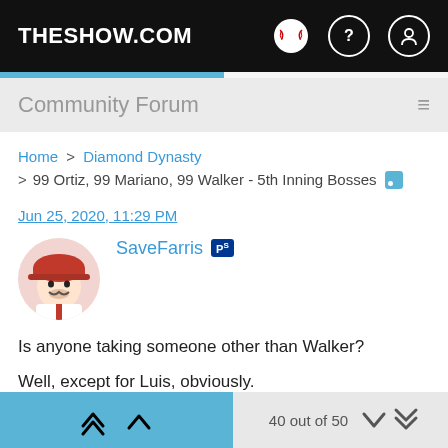THESHOW.COM
Community Forum
Home > Diamond Dynasty > 99 Ortiz, 99 Mariano, 99 Walker - 5th Inning Bosses
Jun 25, 2020, 11:29 PM
SaveFarris
Is anyone taking someone other than Walker?

Well, except for Luis, obviously.
40 out of 50